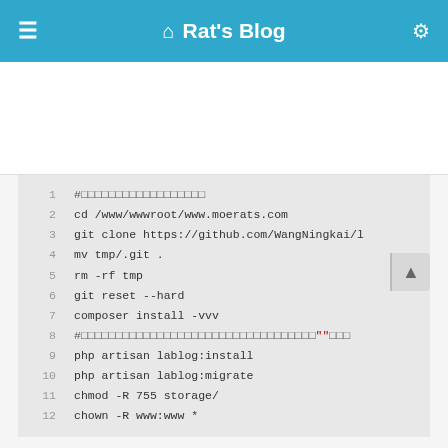Rat's Blog
[Figure (screenshot): Code block with 12 lines of shell commands for setting up a Laravel blog on a web server. Lines include cd, git clone, mv, rm, git reset, composer install, php artisan, chmod, chown commands.]
5
- public
PHP